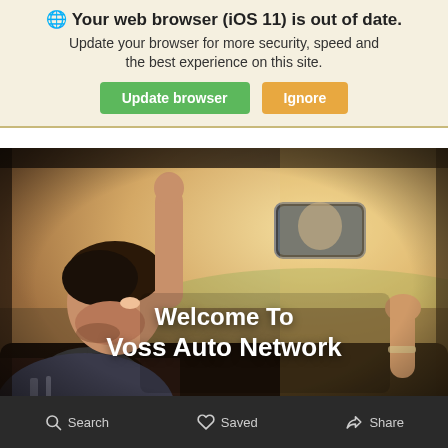🌐 Your web browser (iOS 11) is out of date. Update your browser for more security, speed and the best experience on this site.
Update browser | Ignore
[Figure (photo): Person in car with arm raised, viewed from inside the vehicle. Warm sunny background through windshield. Text overlay reads: Welcome To Voss Auto Network]
Search   Saved   Share